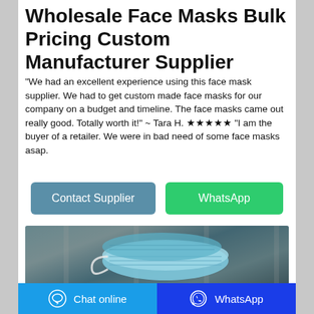Wholesale Face Masks Bulk Pricing Custom Manufacturer Supplier
"We had an excellent experience using this face mask supplier. We had to get custom made face masks for our company on a budget and timeline. The face masks came out really good. Totally worth it!" ~ Tara H. ★★★★★ "I am the buyer of a retailer. We were in bad need of some face masks asap.
[Figure (screenshot): Two blue face masks on a dark wooden surface]
Chat online   WhatsApp